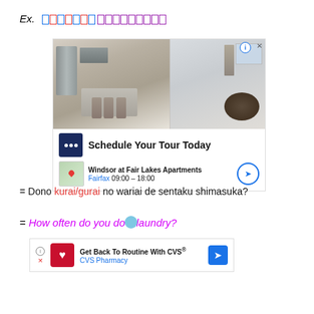Ex. [link text redacted/obscured]
[Figure (photo): Advertisement showing apartment interior with kitchen and dining area. Shows 'Schedule Your Tour Today' for Windsor at Fair Lakes Apartments, Fairfax, 09:00 - 18:00.]
= Dono kurai/gurai no wariai de sentaku shimasuka?
= How often do you do the laundry?
[Figure (screenshot): CVS Pharmacy ad: Get Back To Routine With CVS® - CVS Pharmacy]